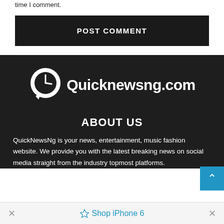time I comment.
POST COMMENT
[Figure (logo): Quicknewsng.com logo — circular speech bubble icon with clock face, white on dark background, followed by bold white text 'Quicknewsng.com']
ABOUT US
QuickNewsNg is your news, entertainment, music fashion website. We provide you with the latest breaking news on social media straight from the industry topmost platforms.
Shop iPhone 6